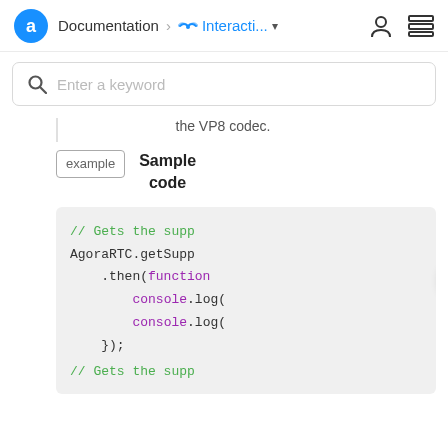Documentation > Interacti... ▾ 👤 ☰
Enter a keyword
the VP8 codec.
example  Sample code
[Figure (screenshot): Code block showing JavaScript snippet with AgoraRTC.getSupportedCodecs() usage: // Gets the supp, AgoraRTC.getSupp, .then(function, console.log(, console.log(, }); // Gets the supp]